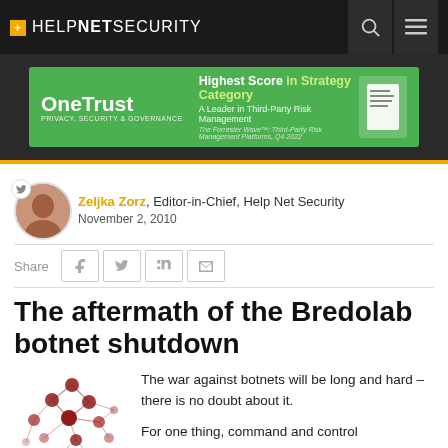+ HELPNETSECURITY
[Figure (logo): OneTrust advertisement banner with green background. Highest Score in Strategy Category. A Leader in Third-Party Risk Management.]
Zeljka Zorz, Editor-in-Chief, Help Net Security
November 2, 2010
Share
The aftermath of the Bredolab botnet shutdown
[Figure (illustration): Network/botnet diagram showing red connected nodes]
The war against botnets will be long and hard – there is no doubt about it.
For one thing, command and control